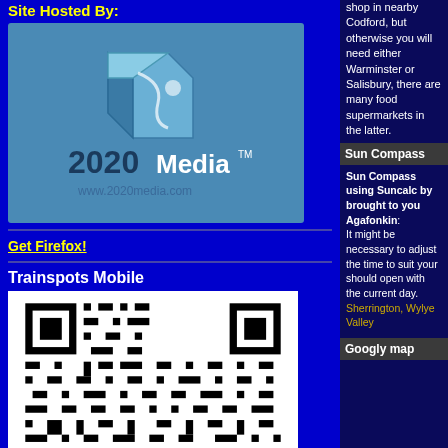Site Hosted By:
[Figure (logo): 2020Media logo with cube graphic and www.2020media.com URL]
[Figure (illustration): Get Firefox! text link/button]
Trainspots Mobile
[Figure (other): QR code for Trainspots Mobile]
[Figure (illustration): Find us on Facebook banner]
shop in nearby Codford, but otherwise you will need either Warminster or Salisbury, there are many food supermarkets in the latter.
Sun Compass
Sun Compass using Suncalc by brought to you Agafonkin: It might be necessary to adjust the time to suit your should open with the current day. Sherrington, Wylye Valley
Googly map